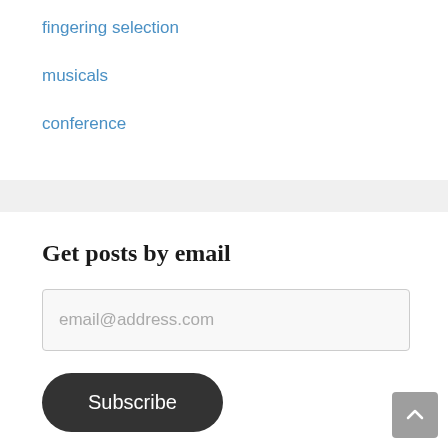fingering selection
musicals
conference
Get posts by email
email@address.com
Subscribe